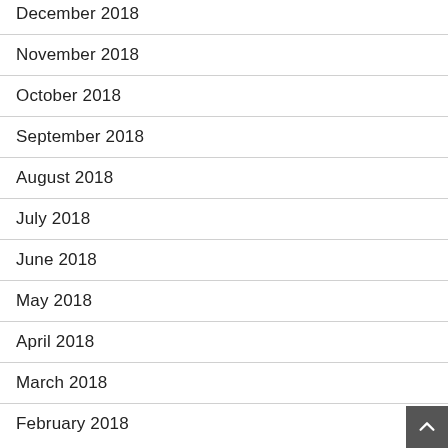December 2018
November 2018
October 2018
September 2018
August 2018
July 2018
June 2018
May 2018
April 2018
March 2018
February 2018